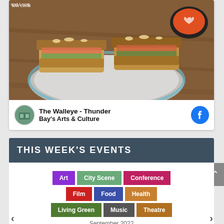[Figure (photo): Food photo showing sandwiches on a plate with a bowl of tomato soup in the background, with text 'and Local' visible at top]
The Walleye - Thunder Bay's Arts & Culture
THIS WEEK'S EVENTS
Art
City Scene
Conference
Film
Food
Health
Living Green
Music
Theatre
September 2022